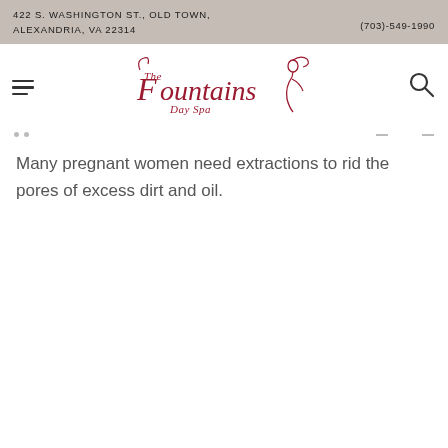422 S. WASHINGTON ST., OLD TOWN, ALEXANDRIA, VA 22314   (703)-549-1990
[Figure (logo): The Fountains Day Spa logo with decorative cursive text and woman silhouette illustration in dark red/maroon color]
Many pregnant women need extractions to rid the pores of excess dirt and oil.